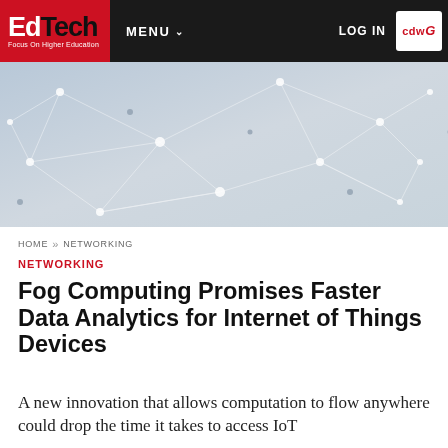EdTech Focus On Higher Education | MENU | LOG IN | CDWG
[Figure (illustration): Abstract network connectivity visualization with dots connected by lines on a gray/blue background]
HOME >> NETWORKING
NETWORKING
Fog Computing Promises Faster Data Analytics for Internet of Things Devices
A new innovation that allows computation to flow anywhere could drop the time it takes to access IoT